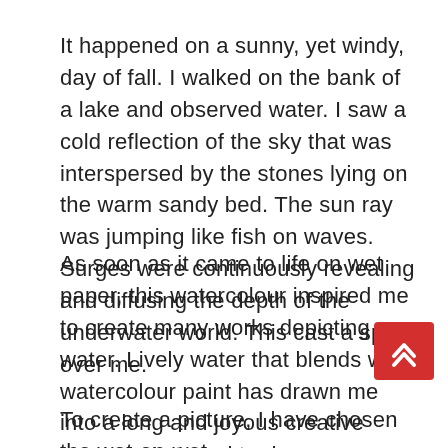It happened on a sunny, yet windy, day of fall. I walked on the bank of a lake and observed water. I saw a cold reflection of the sky that was interspersed by the stones lying on the warm sandy bed. The sun ray was jumping like fish on waves. Surges were continuously revealing and diffusing the depth of the underwater world. This cast a spell over me.
As soon as it came to life on wet paper, this watercolour inspired me to create many works depicting water. Lively water that blends with watercolour paint has drawn me into a long and joyous creative process. I started to dream- and to reflect its different moods.
To create a picture, I have chosen the wet-on-wet